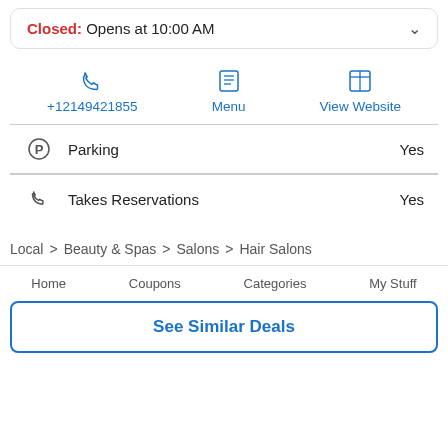Closed: Opens at 10:00 AM
+12149421855 | Menu | View Website
| Parking | Yes |
| Takes Reservations | Yes |
Local > Beauty & Spas > Salons > Hair Salons
Home | Coupons | Categories | My Stuff
See Similar Deals